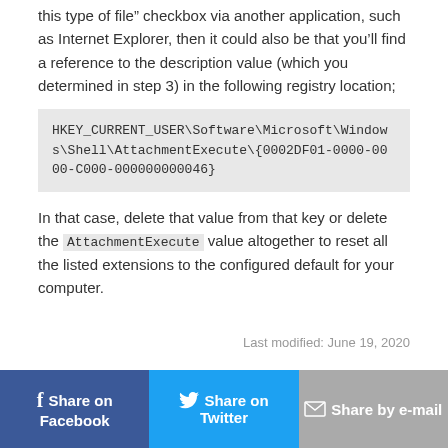this type of file” checkbox via another application, such as Internet Explorer, then it could also be that you’ll find a reference to the description value (which you determined in step 3) in the following registry location;
HKEY_CURRENT_USER\Software\Microsoft\Windows\Shell\AttachmentExecute\{0002DF01-0000-0000-C000-000000000046}
In that case, delete that value from that key or delete the AttachmentExecute value altogether to reset all the listed extensions to the configured default for your computer.
Last modified: June 19, 2020
f Share on Facebook | Share on Twitter | Share by e-mail